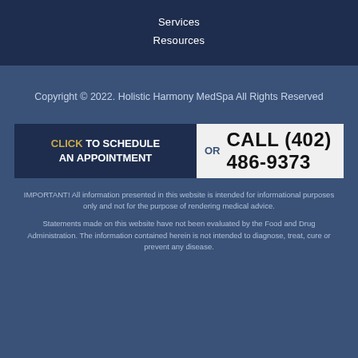Services
Resources
Copyright © 2022. Holistic Harmony MedSpa All Rights Reserved
CLICK TO SCHEDULE AN APPOINTMENT  OR  CALL (402) 486-9373
IMPORTANT! All information presented in this website is intended for informational purposes only and not for the purpose of rendering medical advice.
Statements made on this website have not been evaluated by the Food and Drug Administration. The information contained herein is not intended to diagnose, treat, cure or prevent any disease.